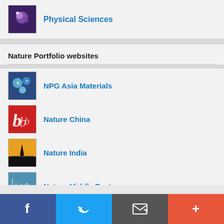Physical Sciences
Nature Portfolio websites
NPG Asia Materials
Nature China
Nature India
Nature Middle East
Hot Topics
Facebook | Twitter | Email | More